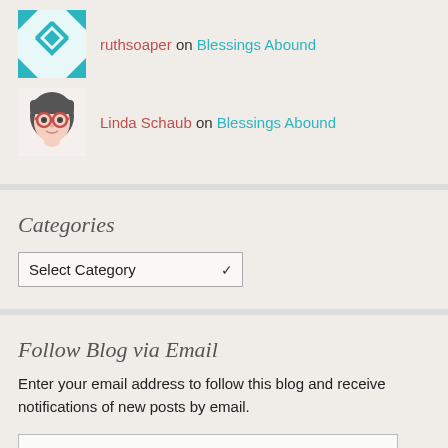ruthsoaper on Blessings Abound
Linda Schaub on Blessings Abound
Categories
Select Category
Follow Blog via Email
Enter your email address to follow this blog and receive notifications of new posts by email.
Enter your email address